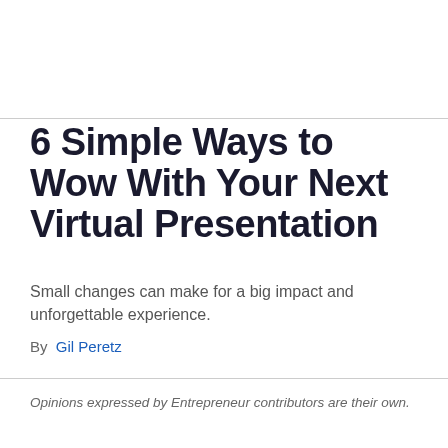6 Simple Ways to Wow With Your Next Virtual Presentation
Small changes can make for a big impact and unforgettable experience.
By  Gil Peretz
Opinions expressed by Entrepreneur contributors are their own.